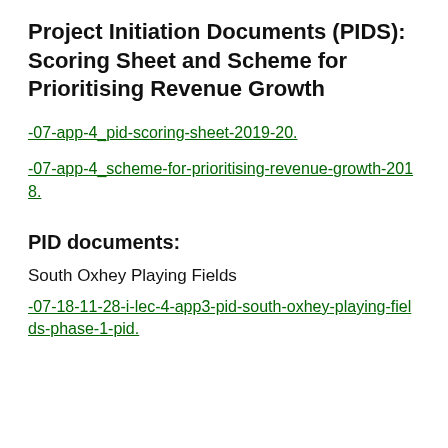Project Initiation Documents (PIDS): Scoring Sheet and Scheme for Prioritising Revenue Growth
-07-app-4_pid-scoring-sheet-2019-20.
-07-app-4_scheme-for-prioritising-revenue-growth-2018.
PID documents:
South Oxhey Playing Fields
-07-18-11-28-i-lec-4-app3-pid-south-oxhey-playing-fields-phase-1-pid.